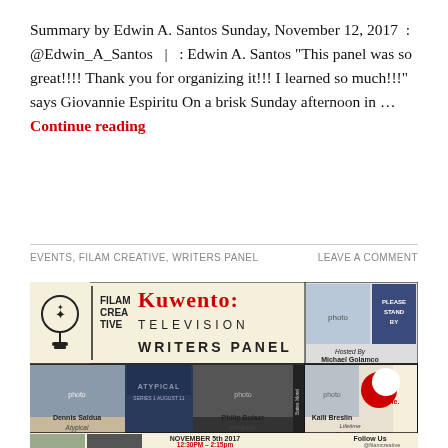Summary by Edwin A. Santos Sunday, November 12, 2017 : @Edwin_A_Santos | : Edwin A. Santos “This panel was so great!!!! Thank you for organizing it!!! I learned so much!!!” says Giovannie Espiritu On a brisk Sunday afternoon in ... Continue reading
EVENTS, FILAM CREATIVE, WRITERS PANEL   LEAVE A COMMENT
[Figure (infographic): Filam Creative Kuwento: Television Writers Panel event banner showing panelists Dennis Saldua (Atypical), Philip Buiser (Preacher, Bates Motel), Kalli Breslin (Lifetime Staff Writer), hosted by Michael Golamco. Event date: November 5th 2017, 12:30PM - 2:15pm. Follow Us social icons.]